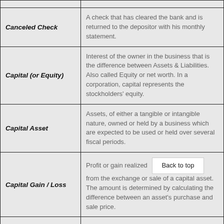| Term | Definition |
| --- | --- |
| Canceled Check | A check that has cleared the bank and is returned to the depositor with his monthly statement. |
| Capital (or Equity) | Interest of the owner in the business that is the difference between Assets & Liabilities. Also called Equity or net worth. In a corporation, capital represents the stockholders' equity. |
| Capital Asset | Assets, of either a tangible or intangible nature, owned or held by a business which are expected to be used or held over several fiscal periods. |
| Capital Gain / Loss | Profit or gain realized from the exchange or sale of a capital asset. The amount is determined by calculating the difference between an asset's purchase and sale price. |
| Capital Gains Distribution | A payment to shareholders of profits realized on the sale of an investment company's securities. |